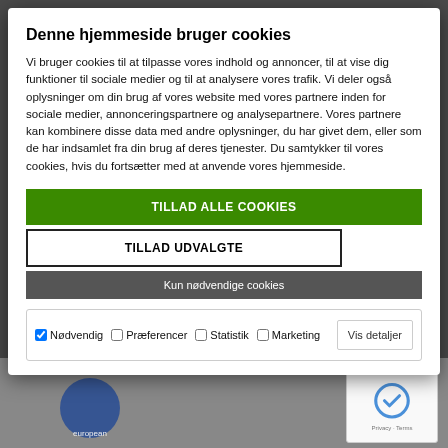Denne hjemmeside bruger cookies
Vi bruger cookies til at tilpasse vores indhold og annoncer, til at vise dig funktioner til sociale medier og til at analysere vores trafik. Vi deler også oplysninger om din brug af vores website med vores partnere inden for sociale medier, annonceringspartnere og analysepartnere. Vores partnere kan kombinere disse data med andre oplysninger, du har givet dem, eller som de har indsamlet fra din brug af deres tjenester. Du samtykker til vores cookies, hvis du fortsætter med at anvende vores hjemmeside.
TILLAD ALLE COOKIES
TILLAD UDVALGTE
Kun nødvendige cookies
✓ Nødvendig   Præferencer   Statistik   Marketing   Vis detaljer
in the EU's resource competition and was translated into English and has since become widespread in many countries across Europe.